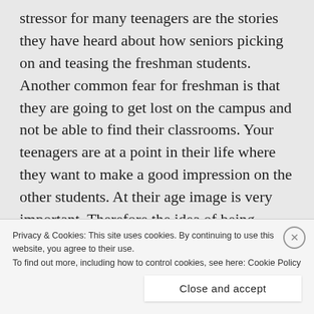stressor for many teenagers are the stories they have heard about how seniors picking on and teasing the freshman students. Another common fear for freshman is that they are going to get lost on the campus and not be able to find their classrooms. Your teenagers are at a point in their life where they want to make a good impression on the other students. At their age image is very important. Therefore the idea of being teased by the seniors or getting lost on the campus can be very stressful and also create a great deal of anxiety for a student starting high school
Privacy & Cookies: This site uses cookies. By continuing to use this website, you agree to their use.
To find out more, including how to control cookies, see here: Cookie Policy
Close and accept